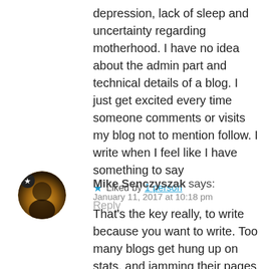depression, lack of sleep and uncertainty regarding motherhood. I have no idea about the admin part and technical details of a blog. I just get excited every time someone comments or visits my blog not to mention follow. I write when I feel like I have something to say
Liked by 1 person
Reply
[Figure (photo): Circular avatar photo of Mike Senczyszak with a star badge icon in the top-left of the avatar]
Mike Senczyszak says:
January 11, 2017 at 10:18 pm
That's the key really, to write because you want to write. Too many blogs get hung up on stats, and jamming their pages full of adverts and pop ups, in